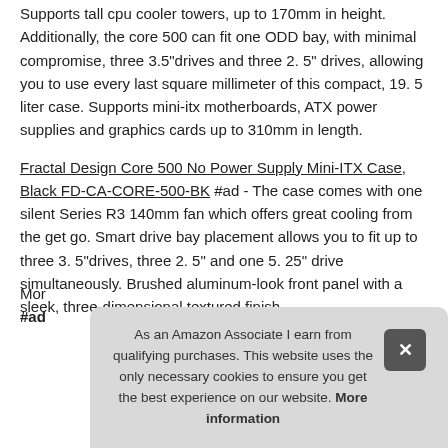Supports tall cpu cooler towers, up to 170mm in height. Additionally, the core 500 can fit one ODD bay, with minimal compromise, three 3.5"drives and three 2. 5" drives, allowing you to use every last square millimeter of this compact, 19. 5 liter case. Supports mini-itx motherboards, ATX power supplies and graphics cards up to 310mm in length.
Fractal Design Core 500 No Power Supply Mini-ITX Case, Black FD-CA-CORE-500-BK #ad - The case comes with one silent Series R3 140mm fan which offers great cooling from the get go. Smart drive bay placement allows you to fit up to three 3. 5"drives, three 2. 5" and one 5. 25" drive simultaneously. Brushed aluminum-look front panel with a sleek, three-dimensional textured finish.
Mor #ad
As an Amazon Associate I earn from qualifying purchases. This website uses the only necessary cookies to ensure you get the best experience on our website. More information